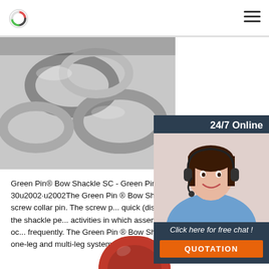[Figure (photo): Metal chain links close-up, silver/chrome colored, upper left area]
Green Pin® Bow Shackle SC - Green Pin 2021-12-30u2002·u2002The Green Pin ® Bow Sh... bow shackle with a screw collar pin. The screw p... quick (dis)assembly which makes the shackle pe... activities in which assembly and disassembly oc... frequently. The Green Pin ® Bow Shackle SC can... both one-leg and multi-leg systems. Due to the s...
[Figure (photo): Customer service agent woman with headset, smiling, used for 24/7 online chat widget on right side]
...
[Figure (other): Green Get Price button]
[Figure (photo): Red object partially visible at bottom center of page]